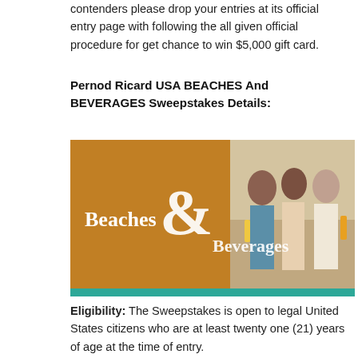contenders please drop your entries at its official entry page with following the all given official procedure for get chance to win $5,000 gift card.
Pernod Ricard USA BEACHES And BEVERAGES Sweepstakes Details:
[Figure (photo): Promotional banner for Beaches & Beverages sweepstakes. Left half has a golden/amber background with white bold text reading 'Beaches & Beverages' with a large ampersand. Right half shows a photo of women at a beach holding tropical drinks.]
Eligibility: The Sweepstakes is open to legal United States citizens who are at least twenty one (21) years of age at the time of entry.
Duration : The Sweepstakes begins on May 30th, 2022 at